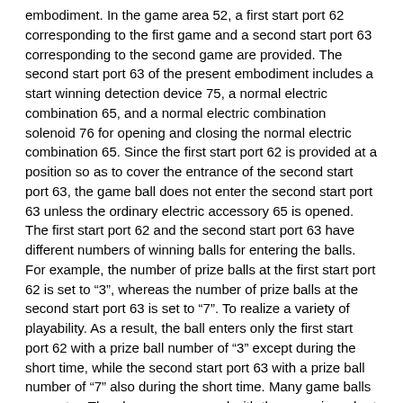embodiment. In the game area 52, a first start port 62 corresponding to the first game and a second start port 63 corresponding to the second game are provided. The second start port 63 of the present embodiment includes a start winning detection device 75, a normal electric combination 65, and a normal electric combination solenoid 76 for opening and closing the normal electric combination 65. Since the first start port 62 is provided at a position so as to cover the entrance of the second start port 63, the game ball does not enter the second start port 63 unless the ordinary electric accessory 65 is opened. The first start port 62 and the second start port 63 have different numbers of winning balls for entering the balls. For example, the number of prize balls at the first start port 62 is set to "3", whereas the number of prize balls at the second start port 63 is set to "7". To realize a variety of playability. As a result, the ball enters only the first start port 62 with a prize ball number of "3" except during the short time, while the second start port 63 with a prize ball number of "7" also during the short time. Many game balls can enter. The player can proceed with the game in a short time with little loss of possession.